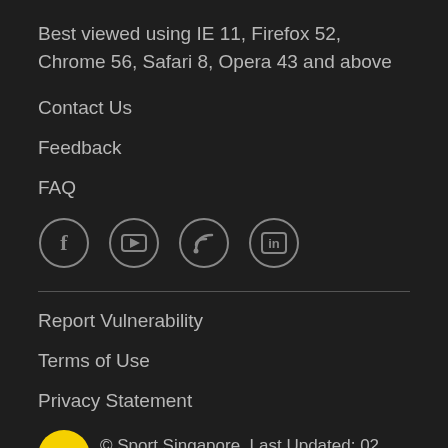Best viewed using IE 11, Firefox 52, Chrome 56, Safari 8, Opera 43 and above
Contact Us
Feedback
FAQ
[Figure (illustration): Four circular social media icons: Facebook (f), YouTube (play button), RSS (signal/wifi), LinkedIn (in)]
Report Vulnerability
Terms of Use
Privacy Statement
© Sport Singapore. Last Updated: 02 August, 2022